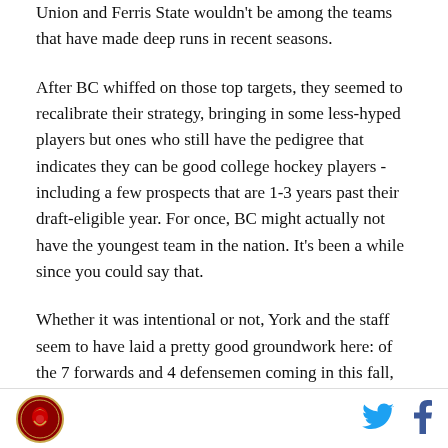Union and Ferris State wouldn't be among the teams that have made deep runs in recent seasons.
After BC whiffed on those top targets, they seemed to recalibrate their strategy, bringing in some less-hyped players but ones who still have the pedigree that indicates they can be good college hockey players - including a few prospects that are 1-3 years past their draft-eligible year. For once, BC might actually not have the youngest team in the nation. It's been a while since you could say that.
Whether it was intentional or not, York and the staff seem to have laid a pretty good groundwork here: of the 7 forwards and 4 defensemen coming in this fall,
[Figure (logo): Circular logo with red and gold design featuring a stylized bird/eagle emblem]